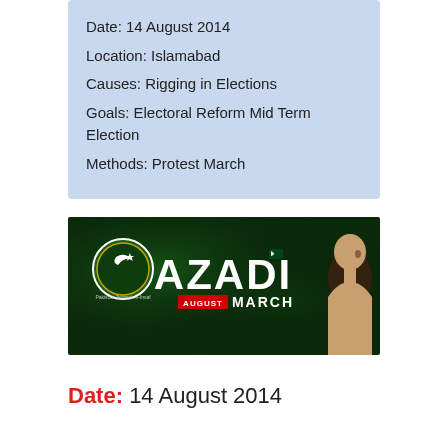Date: 14 August 2014
Location: Islamabad
Causes: Rigging in Elections
Goals: Electoral Reform Mid Term Election
Methods: Protest March
[Figure (photo): Azadi March banner image with Pakistan Tehreek-e-Insaf party logo on left, large text 'AZADI' in center, 'AUGUST' in red box and 'MARCH' text below, silhouette of Imran Khan on right, dark green background]
Date: 14 August 2014